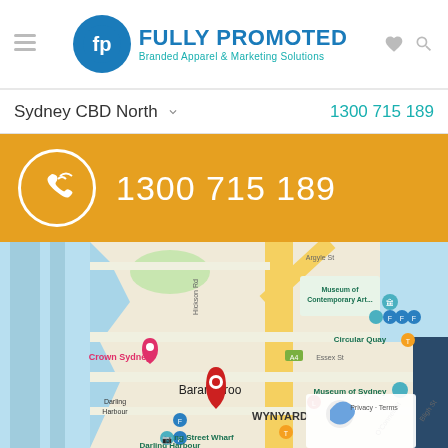Fully Promoted — Branded Apparel & Marketing Solutions
Sydney CBD North  1300 715 189
1300 715 189
[Figure (map): Google Maps showing Sydney CBD North area including Barangaroo, Circular Quay, Museum of Contemporary Art, Museum of Sydney, Crown Sydney, Darling Harbour, Wynyard, King Street Wharf with a red location pin marker.]